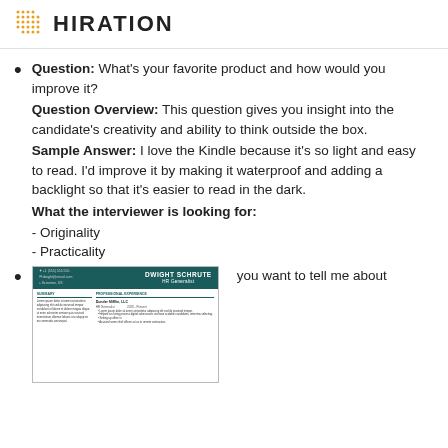HIRATION
Question: What's your favorite product and how would you improve it?
Question Overview: This question gives you insight into the candidate's creativity and ability to think outside the box.
Sample Answer: I love the Kindle because it's so light and easy to read. I'd improve it by making it waterproof and adding a backlight so that it's easier to read in the dark.
What the interviewer is looking for:
- Originality
- Practicality
[Figure (screenshot): Thumbnail of a resume for Dwight Schrute, HR Generalist, with teal header and resume body content.]
...you want to tell me about